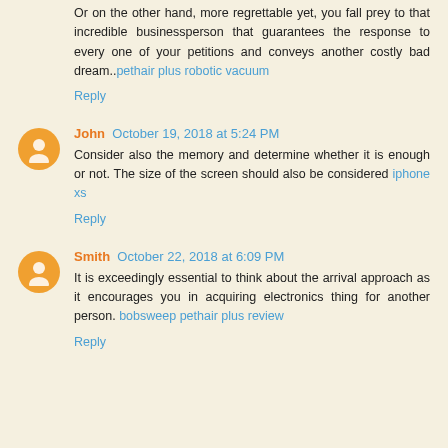Or on the other hand, more regrettable yet, you fall prey to that incredible businessperson that guarantees the response to every one of your petitions and conveys another costly bad dream.. pethair plus robotic vacuum
Reply
John October 19, 2018 at 5:24 PM
Consider also the memory and determine whether it is enough or not. The size of the screen should also be considered iphone xs
Reply
Smith October 22, 2018 at 6:09 PM
It is exceedingly essential to think about the arrival approach as it encourages you in acquiring electronics thing for another person. bobsweep pethair plus review
Reply